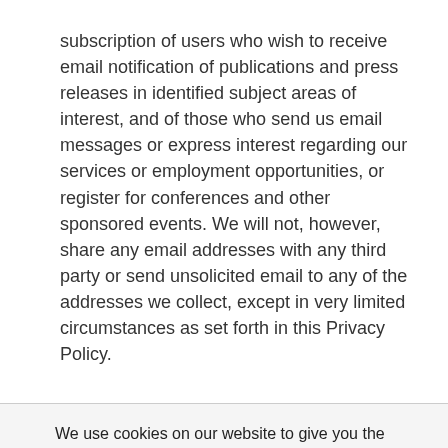subscription of users who wish to receive email notification of publications and press releases in identified subject areas of interest, and of those who send us email messages or express interest regarding our services or employment opportunities, or register for conferences and other sponsored events. We will not, however, share any email addresses with any third party or send unsolicited email to any of the addresses we collect, except in very limited circumstances as set forth in this Privacy Policy.
We use cookies on our website to give you the most relevant experience by remembering your preferences and repeat visits. By clicking "Accept All", you consent to the use of ALL the cookies. However, you may visit "Cookie Settings" to provide a controlled consent.
Cookie Settings | Accept All